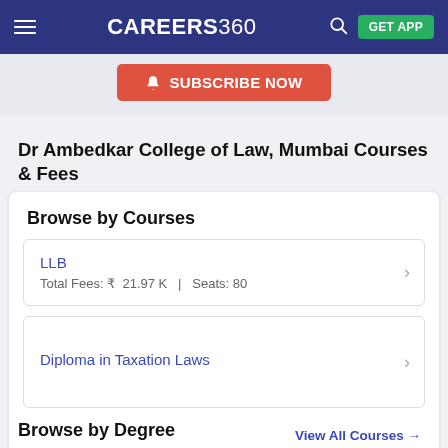CAREERS360 | GET APP
[Figure (screenshot): Subscribe Now button with bell icon on light blue background]
Dr Ambedkar College of Law, Mumbai Courses & Fees
Browse by Courses
LLB — Total Fees: ₹ 21.97 K | Seats: 80
Diploma in Taxation Laws
View All Courses →
Browse by Degree